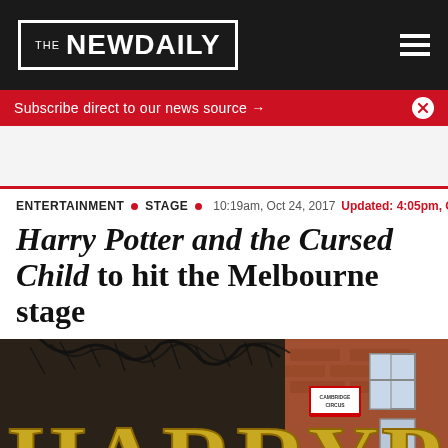THE NEW DAILY
Subscribe direct to our news source →
ENTERTAINMENT • STAGE • 10:19am, Oct 24, 2017 Updated: 4:05pm, Oct 24
Harry Potter and the Cursed Child to hit the Melbourne stage
[Figure (photo): Exterior shot of the Harry Potter and the Cursed Child theatre production signage, showing large golden letters spelling HARRY PO... with ornate black ironwork, set against a brick building with Cambridge Circus visible in the background.]